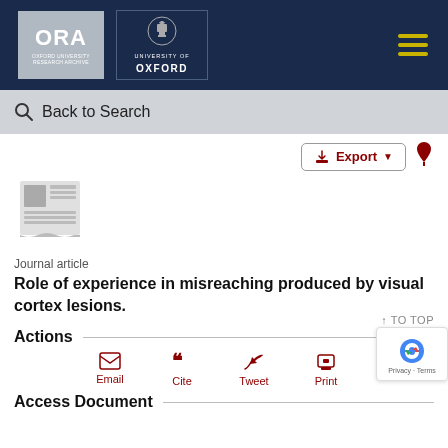[Figure (logo): ORA Oxford University Research Archive logo and University of Oxford crest logo on dark navy header bar with hamburger menu icon]
Back to Search
[Figure (illustration): Journal article document icon - grey newspaper/document graphic]
Journal article
Role of experience in misreaching produced by visual cortex lesions.
Actions
Email
Cite
Tweet
Print
Access Document